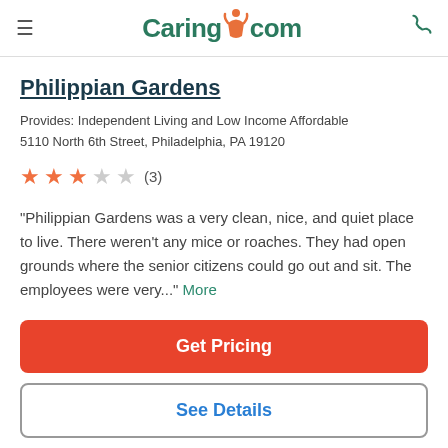Caring.com
Philippian Gardens
Provides: Independent Living and Low Income Affordable
5110 North 6th Street, Philadelphia, PA 19120
★★★☆☆ (3)
"Philippian Gardens was a very clean, nice, and quiet place to live. There weren't any mice or roaches. They had open grounds where the senior citizens could go out and sit. The employees were very..." More